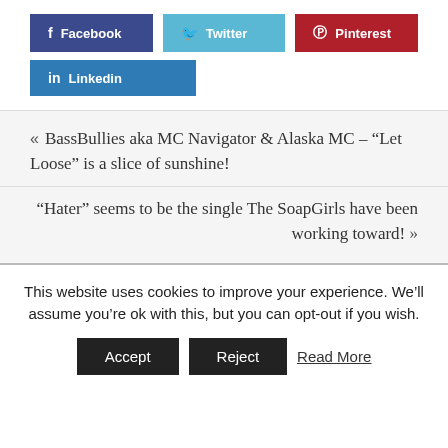f Facebook
Twitter
Pinterest
in Linkedin
« BassBullies aka MC Navigator & Alaska MC – "Let Loose" is a slice of sunshine!
"Hater" seems to be the single The SoapGirls have been working toward! »
This website uses cookies to improve your experience. We'll assume you're ok with this, but you can opt-out if you wish.